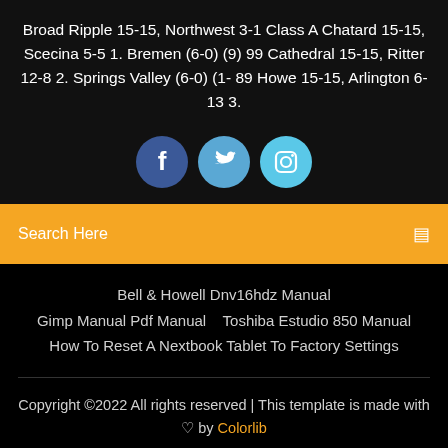Broad Ripple 15-15, Northwest 3-1 Class A Chatard 15-15, Scecina 5-5 1. Bremen (6-0) (9) 99 Cathedral 15-15, Ritter 12-8 2. Springs Valley (6-0) (1- 89 Howe 15-15, Arlington 6-13 3.
[Figure (illustration): Three social media icon circles: Facebook (dark blue), Twitter (medium blue), Instagram (light blue)]
Search Here
Bell & Howell Dnv16hdz Manual
Gimp Manual Pdf Manual   Toshiba Estudio 850 Manual
How To Reset A Nextbook Tablet To Factory Settings
Copyright ©2022 All rights reserved | This template is made with ♡ by Colorlib